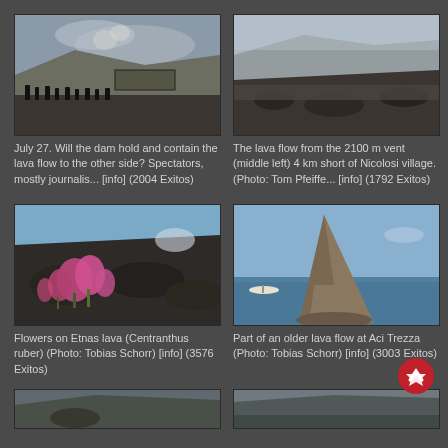[Figure (photo): Tourists/spectators watching lava flow near a dam structure, volcanic landscape with smoke, July 27]
July 27. Will the dam hold and contain the lava flow to the other side? Spectators, mostly journalis... [info] (2004 Exitos)
[Figure (photo): Lava flow from the 2100 m vent, rocky volcanic terrain, middle left view, 4 km short of Nicolosi village]
The lava flow from the 2100 m vent (middle left) 4 km short of Nicolosi village. (Photo: Tom Pfeiffe... [info] (1792 Exitos)
[Figure (photo): Pink flowers (Centranthus ruber) growing on Etna's dark lava rock, blue sky background]
Flowers on Etnas lava (Centranthus ruber) (Photo: Tobias Schorr) [info] (3576 Exitos)
[Figure (photo): Tall rocky volcanic sea stack at Aci Trezza, blue sea and sky, small boat visible]
Part of an older lava flow at Aci Trezza (Photo: Tobias Schorr) [info] (3003 Exitos)
[Figure (photo): Partial bottom-left photo, volcanic/landscape scene]
[Figure (photo): Partial bottom-right photo, landscape scene]